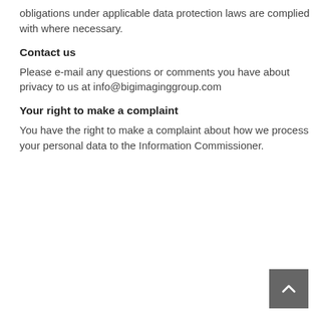obligations under applicable data protection laws are complied with where necessary.
Contact us
Please e-mail any questions or comments you have about privacy to us at info@bigimaginggroup.com
Your right to make a complaint
You have the right to make a complaint about how we process your personal data to the Information Commissioner.